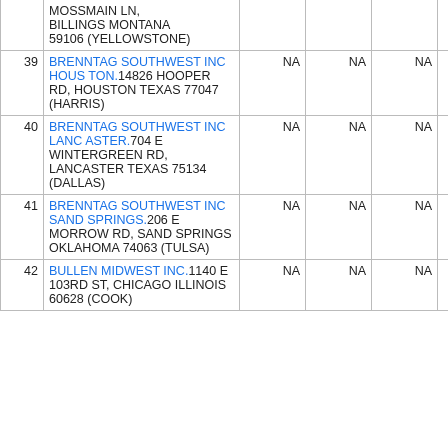| # | Name/Address | Col3 | Col4 | Col5 | Col6 | Col7 |
| --- | --- | --- | --- | --- | --- | --- |
|  | MOSSMAIN LN, BILLINGS MONTANA 59106 (YELLOWSTONE) |  |  |  |  |  |
| 39 | BRENNTAG SOUTHWEST INC HOUSTON.14826 HOOPER RD, HOUSTON TEXAS 77047 (HARRIS) | NA | NA | NA | NA |  |
| 40 | BRENNTAG SOUTHWEST INC LANCASTER.704 E WINTERGREEN RD, LANCASTER TEXAS 75134 (DALLAS) | NA | NA | NA | NA |  |
| 41 | BRENNTAG SOUTHWEST INC SAND SPRINGS.206 E MORROW RD, SAND SPRINGS OKLAHOMA 74063 (TULSA) | NA | NA | NA | NA |  |
| 42 | BULLEN MIDWEST INC.1140 E 103RD ST, CHICAGO ILLINOIS 60628 (COOK) | NA | NA | NA | NA |  |